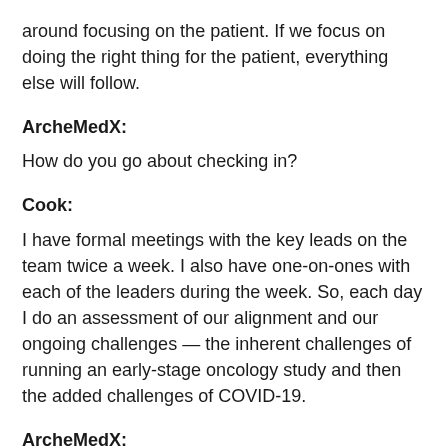around focusing on the patient. If we focus on doing the right thing for the patient, everything else will follow.
ArcheMedX:
How do you go about checking in?
Cook:
I have formal meetings with the key leads on the team twice a week. I also have one-on-ones with each of the leaders during the week. So, each day I do an assessment of our alignment and our ongoing challenges — the inherent challenges of running an early-stage oncology study and then the added challenges of COVID-19.
ArcheMedX:
Could you provide an example of good alignment and the